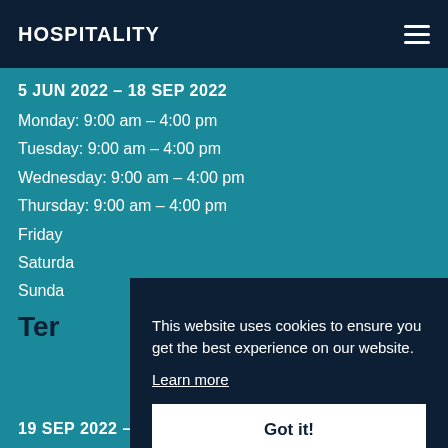HOSPITALITY
5 JUN 2022 – 18 SEP 2022
Monday: 9:00 am – 4:00 pm
Tuesday: 9:00 am – 4:00 pm
Wednesday: 9:00 am – 4:00 pm
Thursday: 9:00 am – 4:00 pm
Friday: 9:00 am – 4:00 pm
Saturday: 9:00 am – 4:00 pm
Sunday: 9:00 am – 4:00 pm
Term...
19 SEP 2022 – 16 DEC 2022
This website uses cookies to ensure you get the best experience on our website. Learn more
Got it!